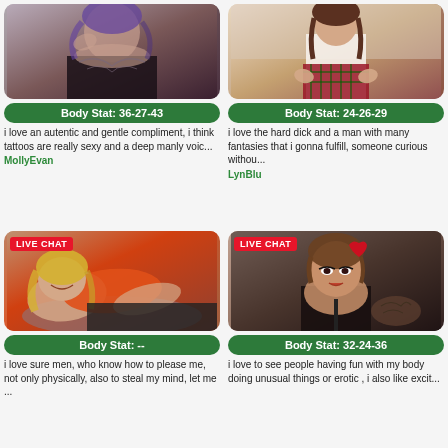[Figure (photo): Photo of MollyEvan, tattooed woman in black lingerie]
Body Stat: 36-27-43
i love an autentic and gentle compliment, i think tattoos are really sexy and a deep manly voic...
MollyEvan
[Figure (photo): Photo of LynBlu, woman in white top and plaid skirt]
Body Stat: 24-26-29
i love the hard dick and a man with many fantasies that i gonna fulfill, someone curious withou...
LynBlu
[Figure (photo): Live chat photo of woman in orange top lying down smiling]
Body Stat: --
i love sure men, who know how to please me, not only physically, also to steal my mind, let me ...
[Figure (photo): Live chat photo of woman with red heart hair accessory]
Body Stat: 32-24-36
i love to see people having fun with my body doing unusual things or erotic , i also like excit...